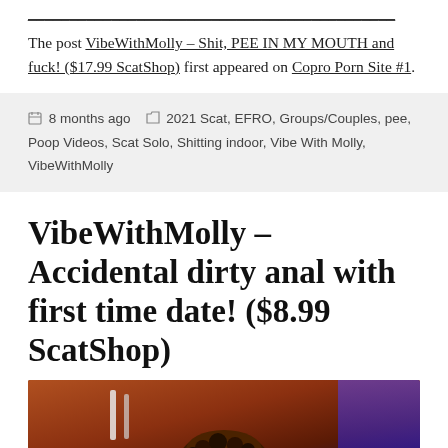[link text truncated at top]
The post VibeWithMolly – Shit, PEE IN MY MOUTH and fuck! ($17.99 ScatShop) first appeared on Copro Porn Site #1.
8 months ago   2021 Scat, EFRO, Groups/Couples, pee, Poop Videos, Scat Solo, Shitting indoor, Vibe With Molly, VibeWithMolly
VibeWithMolly – Accidental dirty anal with first time date! ($8.99 ScatShop)
[Figure (photo): Photo of a person with curly dark hair lying down, with warm reddish-brown tones and blue light in background]